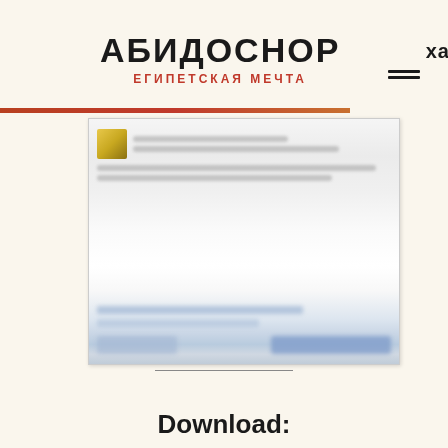АБИДОСНОР ЕГИПЕТСКАЯ МЕЧТА
[Figure (screenshot): Blurred screenshot of a webpage or application interface with avatar icon, text lines, and buttons at bottom]
—
Download: